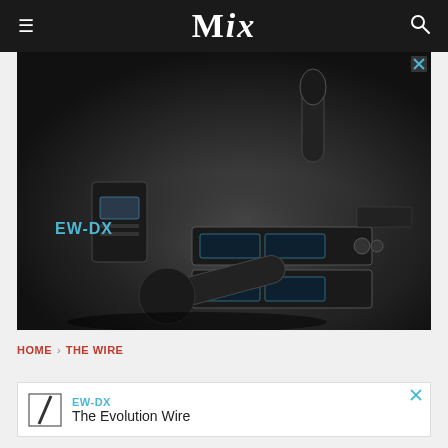MIX
[Figure (photo): Sennheiser advertisement showing EW-DX wireless microphone system products including handheld microphones, bodypack transmitter, and rack-mounted receiver units on a dark background with Sennheiser logo and EW-DX label]
HOME > THE WIRE
[Figure (photo): Sennheiser bottom banner advertisement with logo, EW-DX title and 'The Evolution Wire' subtitle]